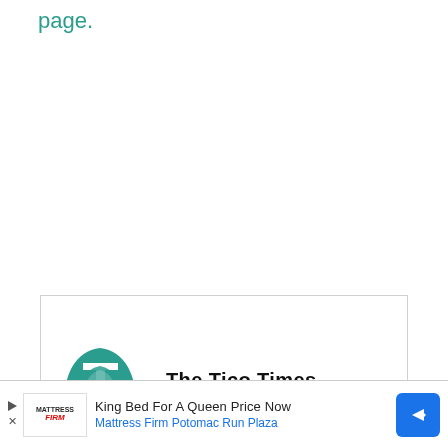page.
[Figure (logo): The Tico Times logo — teal rounded mountain/arch shape with white T letter, alongside bold text 'The Tico Times']
[Figure (infographic): Advertisement bar: Mattress Firm Potomac Run Plaza — 'King Bed For A Queen Price Now' with play/close controls and blue direction sign icon]